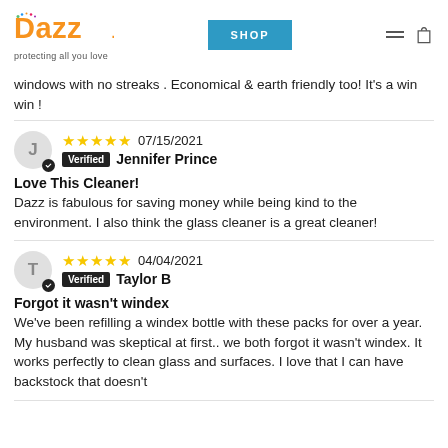Dazz - protecting all you love | SHOP
windows with no streaks . Economical & earth friendly too! It's a win win !
07/15/2021 Verified Jennifer Prince
Love This Cleaner!
Dazz is fabulous for saving money while being kind to the environment. I also think the glass cleaner is a great cleaner!
04/04/2021 Verified Taylor B
Forgot it wasn't windex
We've been refilling a windex bottle with these packs for over a year. My husband was skeptical at first.. we both forgot it wasn't windex. It works perfectly to clean glass and surfaces. I love that I can have backstock that doesn't